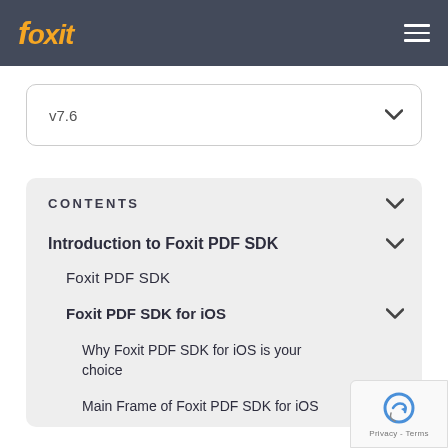Foxit
v7.6
CONTENTS
Introduction to Foxit PDF SDK
Foxit PDF SDK
Foxit PDF SDK for iOS
Why Foxit PDF SDK for iOS is your choice
Main Frame of Foxit PDF SDK for iOS